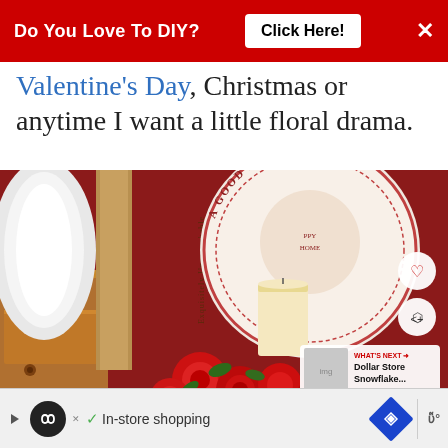[Figure (other): Red banner advertisement: 'Do You Love To DIY? Click Here!' with X close button]
Valentine's Day, Christmas or anytime I want a little floral drama.
[Figure (photo): Photo of a Valentine's Day vignette with a decorative plate reading 'A GOOD HOME', a white pillar candle, red silk roses, a book spine reading 'Exquisitely Unremarkable', a white plate, and a wooden drawer, all against a dark red wall. Overlays include a heart button, share button, and 'WHAT'S NEXT: Dollar Store Snowflake...' panel.]
[Figure (other): Bottom advertisement bar with arrow, infinity icon circle, checkmark, 'In-store shopping' text, blue diamond navigation icon, divider, and weather icon]